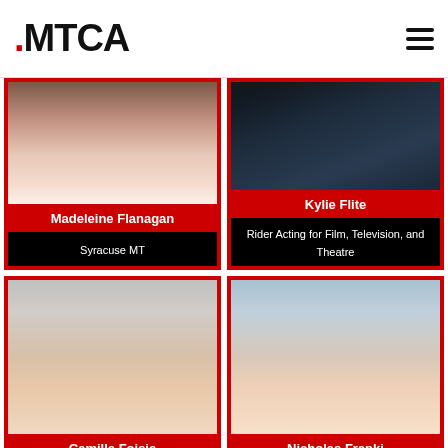MTCA
[Figure (photo): Headshot photo of Madeleine Flanagan, cropped at top]
Madeleine Flanagan
Syracuse MT
[Figure (photo): Headshot photo of Kylie Flite, dark background, cropped at top]
Kylie Flite
Rider Acting for Film, Television, and Theatre
[Figure (photo): Headshot photo of Camille Foisie, young woman with wavy hair, gray background]
Camille Foisie
[Figure (photo): Headshot photo of Nicholas Franki, young man smiling, pink shirt]
Nicholas Franki